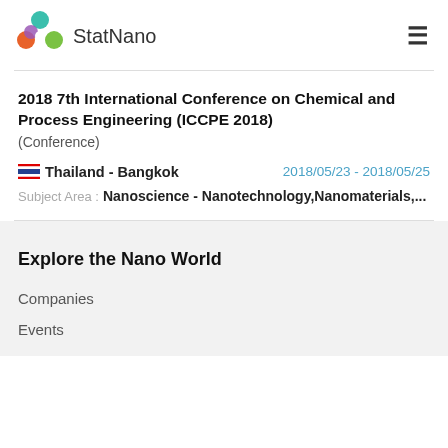StatNano
2018 7th International Conference on Chemical and Process Engineering (ICCPE 2018)
(Conference)
Thailand - Bangkok   2018/05/23 - 2018/05/25
Subject Area :  Nanoscience - Nanotechnology,Nanomaterials,...
Explore the Nano World
Companies
Events